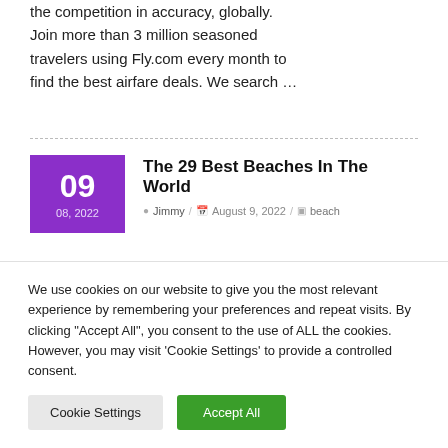the competition in accuracy, globally. Join more than 3 million seasoned travelers using Fly.com every month to find the best airfare deals. We search …
The 29 Best Beaches In The World
Jimmy / August 9, 2022 / beach
He obtained a grant from the…
We use cookies on our website to give you the most relevant experience by remembering your preferences and repeat visits. By clicking "Accept All", you consent to the use of ALL the cookies. However, you may visit 'Cookie Settings' to provide a controlled consent.